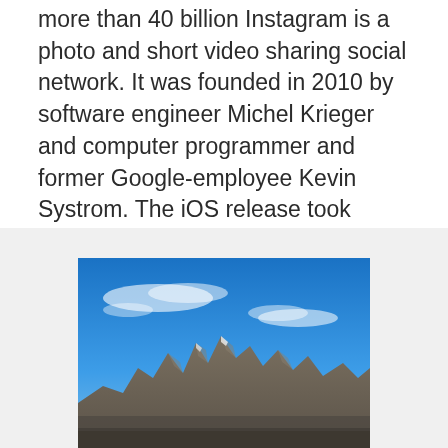more than 40 billion Instagram is a photo and short video sharing social network. It was founded in 2010 by software engineer Michel Krieger and computer programmer and former Google-employee Kevin Systrom. The iOS release took place in October 2010, and the Android in April 2012.
[Figure (photo): Photograph of a mountain range with jagged rocky peaks under a bright blue sky with scattered wispy clouds.]